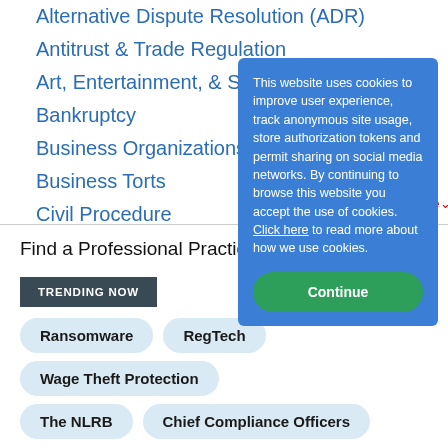Alternative Dispute Resolution (ADR)
Antitrust & Trade Regulation
Art, Entertainment, & Sports
Bankruptcy
Business Organizations
Business Torts
Civil Procedure
Find a Professional Practice A…
TRENDING NOW
Ransomware
RegTech
Wage Theft Protection
The NLRB
Chief Compliance Officers
This website uses cookies to improve user experience, track anonymous site usage, store authorization tokens and permit sharing on social media networks. By continuing to browse this website you accept the use of cookies. Click here to read more about how we use cookies.
Continue